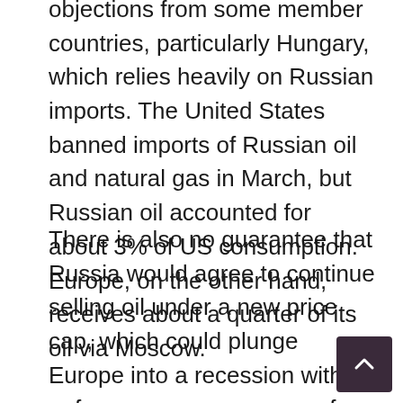objections from some member countries, particularly Hungary, which relies heavily on Russian imports. The United States banned imports of Russian oil and natural gas in March, but Russian oil accounted for about 3% of US consumption. Europe, on the other hand, receives about a quarter of its oil via Moscow.
There is also no guarantee that Russia would agree to continue selling oil under a new price cap, which could plunge Europe into a recession with unforeseen consequences for the global economy. Putin said this week that Europe would commit “economic suicide” if it dumped Russian oil. Some experts point out that the same hurdles that slow the embargo could also slow the pric